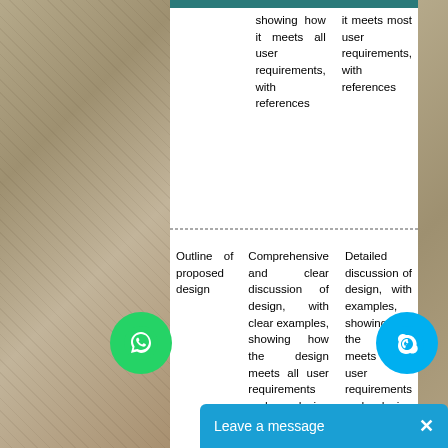|  | Comprehensive and clear discussion of design, with clear examples, showing how the design meets all user requirements and design principles with references | Detailed discussion of design, with examples, showing how the design meets most user requirements and design principles | Thorough discussion of design, with examples, showing how the design meets user requirements |
| --- | --- | --- | --- |
|  | showing how it meets all user requirements, with references | it meets most user requirements, with references | it many requi gene refere |
| Outline of proposed design | Comprehensive and clear discussion of design, with clear examples, showing how the design meets all user requirements and design principles with references | Detailed discussion of design, with examples, showing how the design meets most user requirements and design principles | Thorough discussion... |